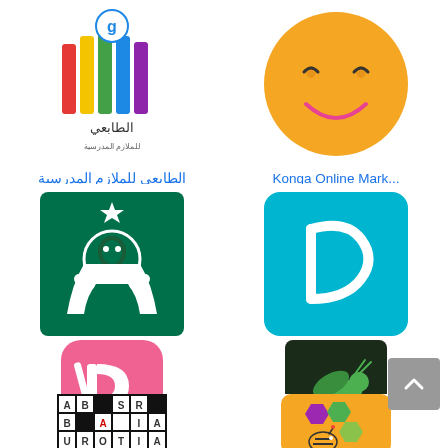[Figure (logo): الطابعي للملازم المدرسية app logo - colorful book/printer icon with Arabic text]
الطابعي للملازم المدرسية
[Figure (logo): Konga Online Marketplace logo - orange circle with smiley face]
Konga Online Mark...
[Figure (logo): Starbucks app logo - green circle with white siren]
스타벅스
[Figure (logo): Doctolib app logo - blue rounded square with white D letter]
Doctolib
[Figure (logo): PopSlide app logo - pink rounded square with white P icon]
PopSlide: Get Free ...
[Figure (logo): Grasshopper app logo - dark green square with green grasshopper icon]
Grasshopper: Lear...
[Figure (logo): Crossword puzzle app logo - black and white crossword grid]
[Figure (logo): Honeybee/food app logo - orange hexagon with purple/green/green hexagons and bee character]